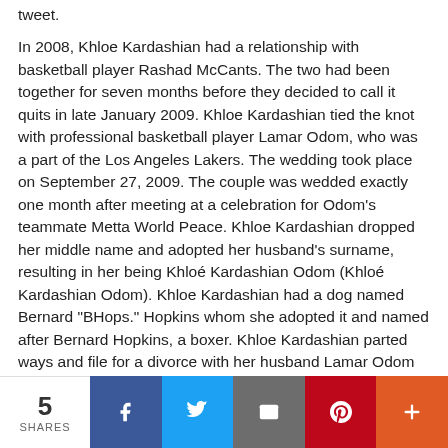tweet.
In 2008, Khloe Kardashian had a relationship with basketball player Rashad McCants. The two had been together for seven months before they decided to call it quits in late January 2009. Khloe Kardashian tied the knot with professional basketball player Lamar Odom, who was a part of the Los Angeles Lakers. The wedding took place on September 27, 2009. The couple was wedded exactly one month after meeting at a celebration for Odom's teammate Metta World Peace. Khloe Kardashian dropped her middle name and adopted her husband's surname, resulting in her being Khloé Kardashian Odom (Khloé Kardashian Odom). Khloe Kardashian had a dog named Bernard "BHops." Hopkins whom she adopted it and named after Bernard Hopkins, a boxer. Khloe Kardashian parted ways and file for a divorce with her husband Lamar Odom on December 13, 2013, following months of speculation about their separation. She also sought the formal restoration of her last name. In July 2015, the parties agreed to divorce and singed on the
5 SHARES | Facebook | Twitter | Email | Pinterest | More